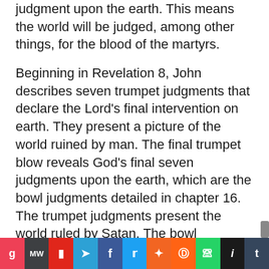judgment upon the earth. This means the world will be judged, among other things, for the blood of the martyrs.

Beginning in Revelation 8, John describes seven trumpet judgments that declare the Lord's final intervention on earth. They present a picture of the world ruined by man. The final trumpet blow reveals God's final seven judgments upon the earth, which are the bowl judgments detailed in chapter 16. The trumpet judgments present the world ruled by Satan. The bowl judgments present the world reclaimed by God